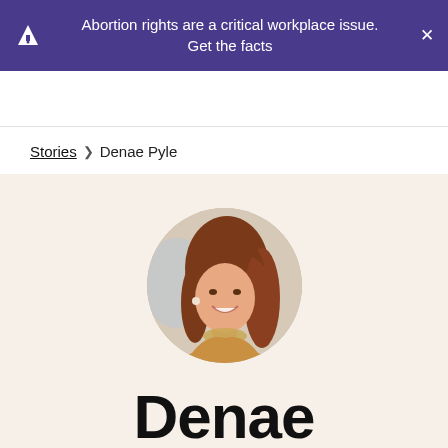Abortion rights are a critical workplace issue. Get the facts
Stories › Denae Pyle
[Figure (photo): Circular profile photo of a young woman with long reddish-brown hair, smiling, wearing a beaded necklace and golden top]
Denae